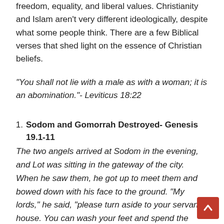freedom, equality, and liberal values. Christianity and Islam aren't very different ideologically, despite what some people think. There are a few Biblical verses that shed light on the essence of Christian beliefs.
“You shall not lie with a male as with a woman; it is an abomination.”- Leviticus 18:22
Sodom and Gomorrah Destroyed- Genesis 19.1-11
The two angels arrived at Sodom in the evening, and Lot was sitting in the gateway of the city. When he saw them, he got up to meet them and bowed down with his face to the ground. “My lords,” he said, “please turn aside to your servant’s house. You can wash your feet and spend the night and then go on your way early in the morning.”